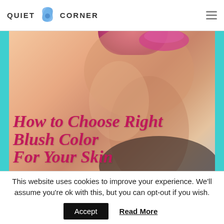QUIET CORNER
[Figure (photo): Close-up of woman's neck and chin with pink lips at top, overlaid with large italic text 'How to Choose Right Blush Color For Your Skin' in magenta/pink, framed by teal side bars]
How to Choose Right Blush Color For Your Skin
This website uses cookies to improve your experience. We'll assume you're ok with this, but you can opt-out if you wish.
Accept  Read More